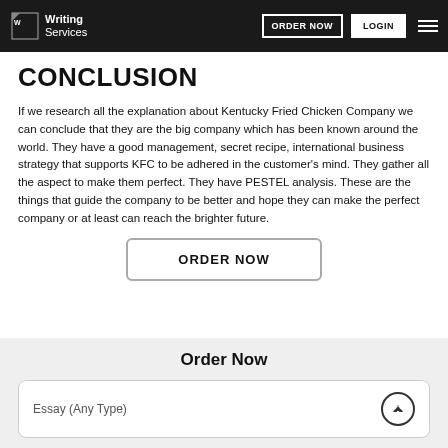Writing Services | ORDER NOW | LOGIN
CONCLUSION
If we research all the explanation about Kentucky Fried Chicken Company we can conclude that they are the big company which has been known around the world. They have a good management, secret recipe, international business strategy that supports KFC to be adhered in the customer's mind. They gather all the aspect to make them perfect. They have PESTEL analysis. These are the things that guide the company to be better and hope they can make the perfect company or at least can reach the brighter future.
ORDER NOW
Order Now
Essay (Any Type)